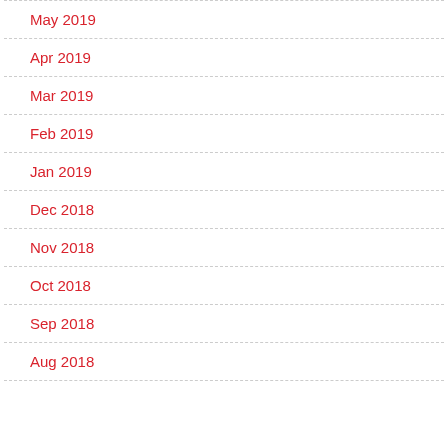May 2019
Apr 2019
Mar 2019
Feb 2019
Jan 2019
Dec 2018
Nov 2018
Oct 2018
Sep 2018
Aug 2018